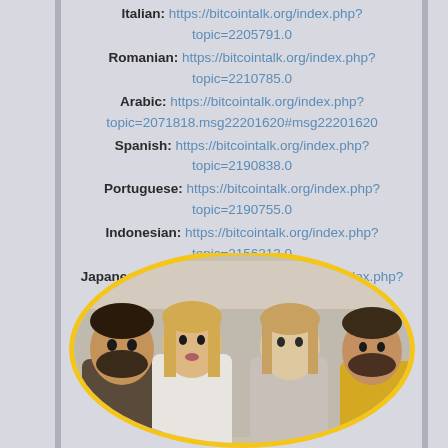Italian: https://bitcointalk.org/index.php?topic=2205791.0
Romanian: https://bitcointalk.org/index.php?topic=2210785.0
Arabic: https://bitcointalk.org/index.php?topic=2071818.msg22201620#msg22201620
Spanish: https://bitcointalk.org/index.php?topic=2190838.0
Portuguese: https://bitcointalk.org/index.php?topic=2190755.0
Indonesian: https://bitcointalk.org/index.php?topic=2156213.0
Japanese: https://bitcoingarden.org/forum/index.php?topic=20088.msg201922
Croatian: https://bitcointalk.org/index.php?topic=2214445
[Figure (photo): Four people sitting together, two men and two women, looking at camera, inside an oval with yellow border]